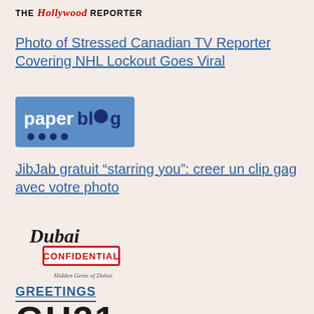[Figure (logo): The Hollywood Reporter logo — THE in black caps, Hollywood in red italic script, REPORTER in black caps]
Photo of Stressed Canadian TV Reporter Covering NHL Lockout Goes Viral
[Figure (logo): Paperblog logo — white text 'paper' and 'blog' on a blue rectangular background with decorative dots]
JibJab gratuit “starring you”: creer un clip gag avec votre photo
[Figure (logo): Dubai Confidential logo — cursive Dubai text with a red stamp reading CONFIDENTIAL and subtitle Hidden Gems of Dubai]
GREETINGS
[Figure (logo): Partial logo showing large bold characters GH31 (partially cut off at bottom)]